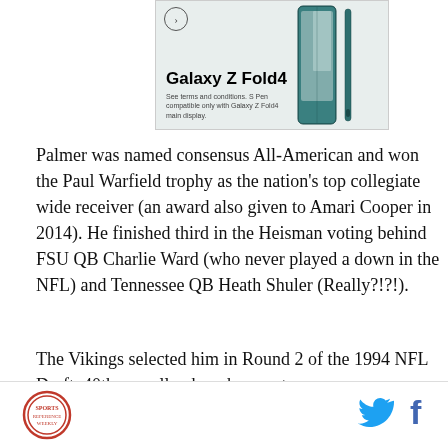[Figure (photo): Samsung Galaxy Z Fold4 advertisement showing the phone and stylus pen with text 'Galaxy Z Fold4' and 'See terms and conditions. S Pen compatible only with Galaxy Z Fold4 main display.']
Palmer was named consensus All-American and won the Paul Warfield trophy as the nation's top collegiate wide receiver (an award also given to Amari Cooper in 2014). He finished third in the Heisman voting behind FSU QB Charlie Ward (who never played a down in the NFL) and Tennessee QB Heath Shuler (Really?!?!).
The Vikings selected him in Round 2 of the 1994 NFL Draft, 40th overall, where he spent seven seasons
[Figure (logo): Circular logo in bottom left of footer]
[Figure (logo): Twitter bird icon and Facebook f icon in footer]